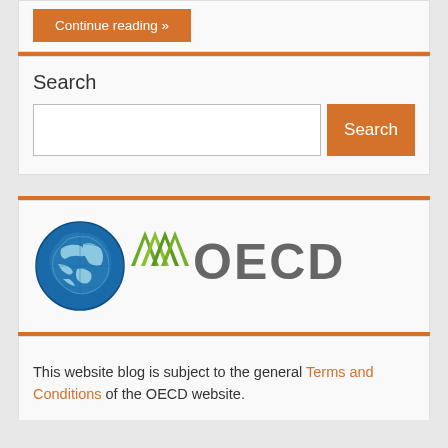Continue reading »
Search
[Figure (logo): OECD logo with globe icon and stylized chevrons, followed by grey OECD text]
This website blog is subject to the general Terms and Conditions of the OECD website.